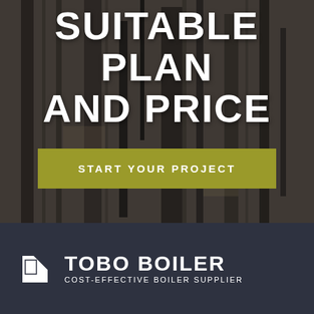[Figure (photo): Dark textured tree bark background filling the upper portion of the page]
SUITABLE PLAN AND PRICE
START YOUR PROJECT
[Figure (logo): TOBO BOILER logo with white geometric icon and text 'TOBO BOILER' with tagline 'COST-EFFECTIVE BOILER SUPPLIER' on dark navy background]